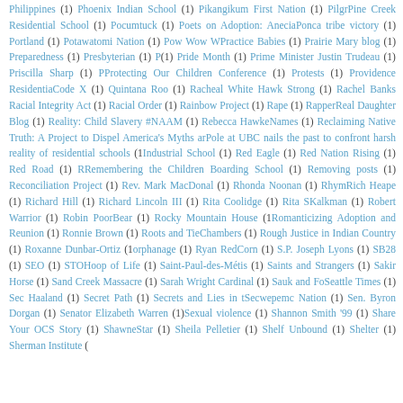Philippines (1) Phoenix Indian School (1) Pikangikum First Nation (1) Pilgr… Pine Creek Residential School (1) Pocumtuck (1) Poets on Adoption: Anecia… Ponca tribe victory (1) Portland (1) Potawatomi Nation (1) Pow Wow W… Practice Babies (1) Prairie Mary blog (1) Preparedness (1) Presbyterian (1) P… (1) Pride Month (1) Prime Minister Justin Trudeau (1) Priscilla Sharp (1) P… Protecting Our Children Conference (1) Protests (1) Providence Residentia… Code X (1) Quintana Roo (1) Racheal White Hawk Strong (1) Rachel Banks… Racial Integrity Act (1) Racial Order (1) Rainbow Project (1) Rape (1) Rapper… Real Daughter Blog (1) Reality: Child Slavery #NAAM (1) Rebecca Hawke… Names (1) Reclaiming Native Truth: A Project to Dispel America's Myths ar… Pole at UBC nails the past to confront harsh reality of residential schools (1… Industrial School (1) Red Eagle (1) Red Nation Rising (1) Red Road (1) R… Remembering the Children Boarding School (1) Removing posts (1)… Reconciliation Project (1) Rev. Mark MacDonal (1) Rhonda Noonan (1) Rhym… Rich Heape (1) Richard Hill (1) Richard Lincoln III (1) Rita Coolidge (1) Rita S… Kalkman (1) Robert Warrior (1) Robin PoorBear (1) Rocky Mountain House (1… Romanticizing Adoption and Reunion (1) Ronnie Brown (1) Roots and Tie… Chambers (1) Rough Justice in Indian Country (1) Roxanne Dunbar-Ortiz (1… orphanage (1) Ryan RedCorn (1) S.P. Joseph Lyons (1) SB28 (1) SEO (1) STC… Hoop of Life (1) Saint-Paul-des-Métis (1) Saints and Strangers (1) Sakir… Horse (1) Sand Creek Massacre (1) Sarah Wright Cardinal (1) Sauk and Fo… Seattle Times (1) Sec Haaland (1) Secret Path (1) Secrets and Lies in t… Secwepemc Nation (1) Sen. Byron Dorgan (1) Senator Elizabeth Warren (1)… Sexual violence (1) Shannon Smith '99 (1) Share Your OCS Story (1) Shawne… Star (1) Sheila Pelletier (1) Shelf Unbound (1) Shelter (1) Sherman Institute (